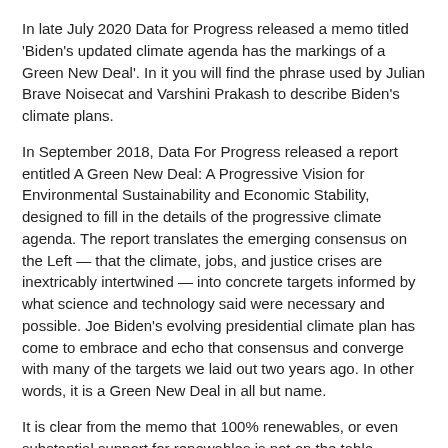In late July 2020 Data for Progress released a memo titled 'Biden's updated climate agenda has the markings of a Green New Deal'. In it you will find the phrase used by Julian Brave Noisecat and Varshini Prakash to describe Biden's climate plans.
In September 2018, Data For Progress released a report entitled A Green New Deal: A Progressive Vision for Environmental Sustainability and Economic Stability, designed to fill in the details of the progressive climate agenda. The report translates the emerging consensus on the Left — that the climate, jobs, and justice crises are inextricably intertwined — into concrete targets informed by what science and technology said were necessary and possible. Joe Biden's evolving presidential climate plan has come to embrace and echo that consensus and converge with many of the targets we laid out two years ago. In other words, it is a Green New Deal in all but name.
It is clear from the memo that 100% renewables, or even substantial support for renewables is not on the table.
At this moment of profound crisis, we have the opportunity to build a more resilient, sustainable economy – one that will put the United States on an irreversible path to achieve net-zero emissions, economy-wide, by no later than 2050. [SOURCE]